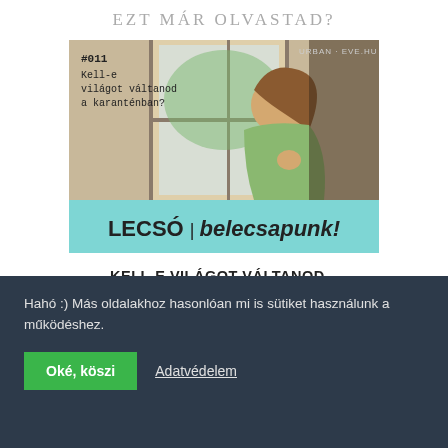EZT MÁR OLVASTAD?
[Figure (illustration): Podcast thumbnail image showing a woman looking out a window, with text overlay '#011 Kell-e világot váltanod a karanténban?' and a teal/cyan banner at the bottom reading 'LECSÓ | belecsapunk!'. Top right corner shows 'URBAN-EVE.HU' watermark.]
KELL-E VILÁGOT VÁLTANOD A KARANTÉNBAN? – LECSÓ PODCAST #011
Hahó :) Más oldalakhoz hasonlóan mi is sütiket használunk a működéshez.
Oké, köszi   Adatvédelem